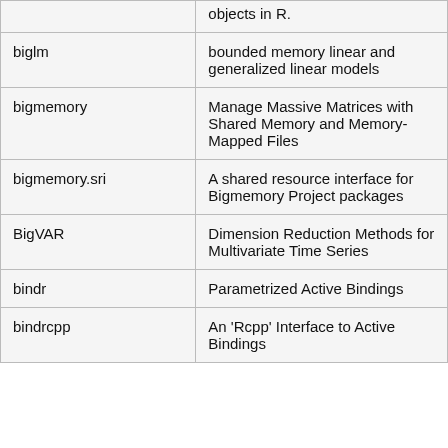| Package | Description |
| --- | --- |
|  | objects in R. |
| biglm | bounded memory linear and generalized linear models |
| bigmemory | Manage Massive Matrices with Shared Memory and Memory-Mapped Files |
| bigmemory.sri | A shared resource interface for Bigmemory Project packages |
| BigVAR | Dimension Reduction Methods for Multivariate Time Series |
| bindr | Parametrized Active Bindings |
| bindrcpp | An 'Rcpp' Interface to Active Bindings |